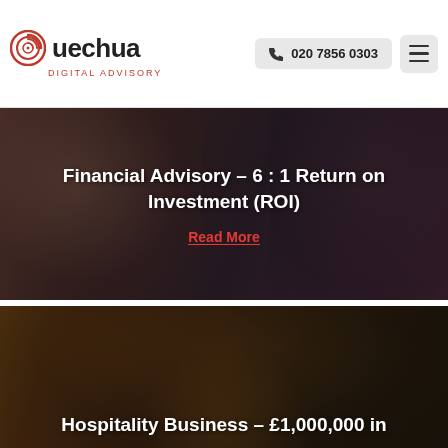Quechua Digital Advisory — 020 7856 0303
[Figure (photo): Two people in discussion, dark moody tones, overlaid with text about Financial Advisory 6:1 Return on Investment (ROI)]
Financial Advisory – 6 : 1 Return on Investment (ROI)
Read More
[Figure (photo): Commercial kitchen scene with chefs in white uniforms, dark warm tones, overlaid with text about Hospitality Business – £1,000,000 in]
Hospitality Business – £1,000,000 in